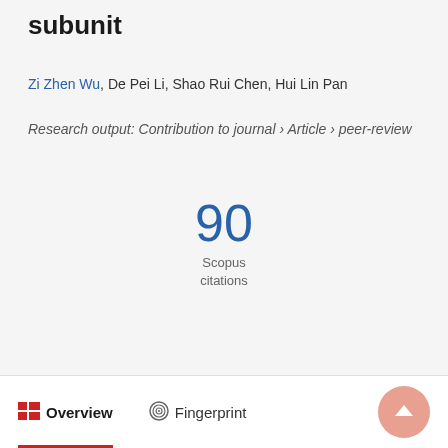subunit
Zi Zhen Wu, De Pei Li, Shao Rui Chen, Hui Lin Pan
Research output: Contribution to journal › Article › peer-review
90
Scopus
citations
Overview   Fingerprint